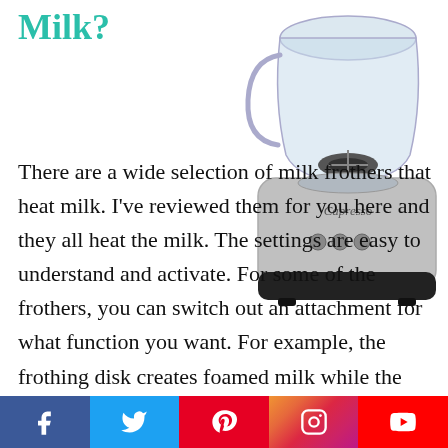Milk?
[Figure (photo): A silver and black electric milk frother/blender appliance with a glass pitcher on top, branded Capresso.]
There are a wide selection of milk frothers that heat milk. I've reviewed them for you here and they all heat the milk. The settings are easy to understand and activate. For some of the frothers, you can switch out an attachment for what function you want. For example, the frothing disk creates foamed milk while the heating disk is used
Facebook Twitter Pinterest Instagram YouTube